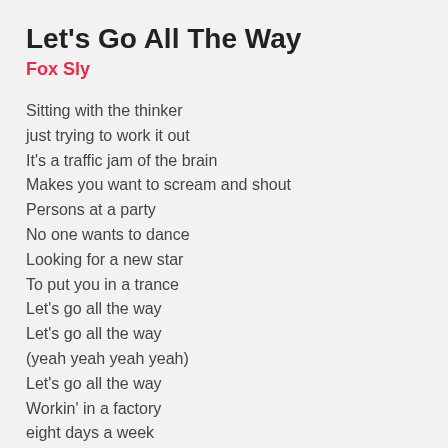Let's Go All The Way
Fox Sly
Sitting with the thinker
just trying to work it out
It's a traffic jam of the brain
Makes you want to scream and shout
Persons at a party
No one wants to dance
Looking for a new star
To put you in a trance
Let's go all the way
Let's go all the way
(yeah yeah yeah yeah)
Let's go all the way
Workin' in a factory
eight days a week
Try to make dollar
downward of it
Cartoon capers